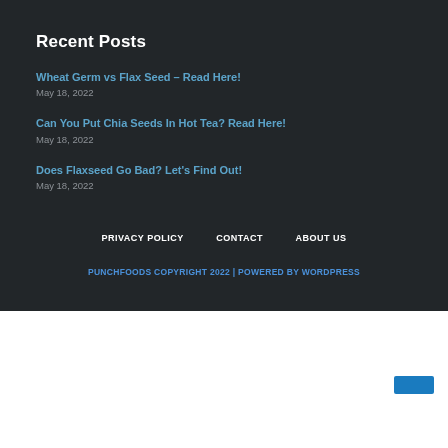Recent Posts
Wheat Germ vs Flax Seed – Read Here!
May 18, 2022
Can You Put Chia Seeds In Hot Tea? Read Here!
May 18, 2022
Does Flaxseed Go Bad? Let's Find Out!
May 18, 2022
PRIVACY POLICY   CONTACT   ABOUT US
PUNCHFOODS COPYRIGHT 2022 | POWERED BY WORDPRESS